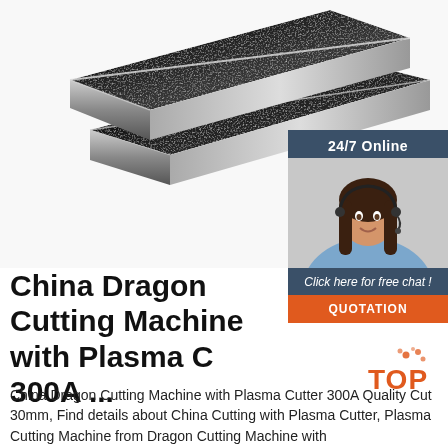[Figure (photo): Two dark metal/steel plates with beveled edges, photographed on a white background. Dark gunmetal color with rough textured surface and shiny cut edges.]
[Figure (photo): Chat widget overlay in dark teal/navy showing '24/7 Online' header, a female customer service agent with headset smiling, 'Click here for free chat!' text, and an orange QUOTATION button.]
China Dragon Cutting Machine with Plasma C 300A ...
China Dragon Cutting Machine with Plasma Cutter 300A Quality Cut 30mm, Find details about China Cutting with Plasma Cutter, Plasma Cutting Machine from Dragon Cutting Machine with